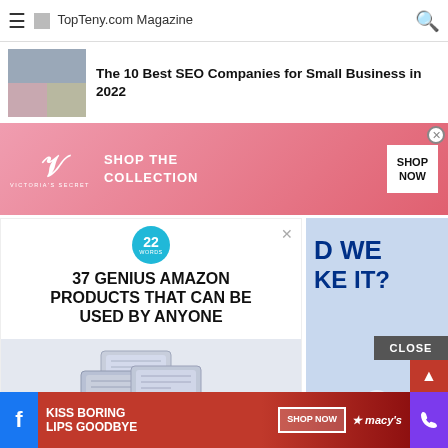TopTeny.com Magazine
The 10 Best SEO Companies for Small Business in 2022
[Figure (photo): Victoria's Secret advertisement banner: pink gradient background with VS logo, text 'SHOP THE COLLECTION', and 'SHOP NOW' button]
[Figure (infographic): 22 Words ad: teal circular badge with '22 WORDS', headline '37 GENIUS AMAZON PRODUCTS THAT CAN BE USED BY ANYONE', product image of packaged wipes]
[Figure (photo): Partial right-side ad with dark blue text 'D WE KE IT?' on light blue background]
[Figure (photo): Macy's advertisement: 'KISS BORING LIPS GOODBYE' with 'SHOP NOW' button and Macy's logo on red background]